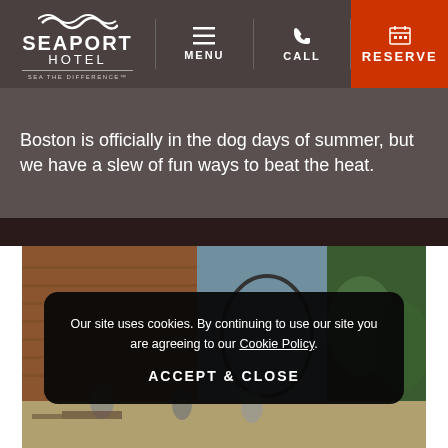[Figure (screenshot): Seaport Hotel website header with logo, MENU, CALL, and RESERVE navigation buttons]
Boston is officially in the dog days of summer, but we have a slew of fun ways to beat the heat.
[Figure (photo): Outdoor photo of hotel exterior with brick building, trees, and people dining outside]
Our site uses cookies. By continuing to use our site you are agreeing to our Cookie Policy.
ACCEPT & CLOSE